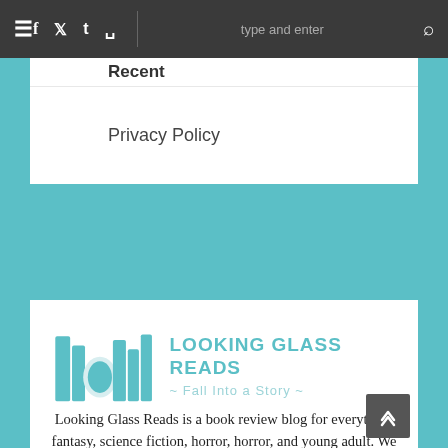≡  f  t  t  ☷  type and enter  🔍
Recent
Privacy Policy
[Figure (logo): Looking Glass Reads logo — teal books icon on left, text 'LOOKING GLASS READS ~ Fall Into a Story ~' on right]
Looking Glass Reads is a book review blog for everything fantasy, science fiction, horror, horror, and young adult. We also review graphic novels, manga, and light novels.